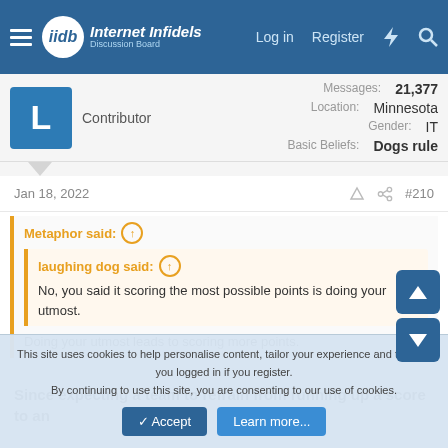Internet Infidels — Log in | Register
Contributor
Messages: 21,377
Location: Minnesota
Gender: IT
Basic Beliefs: Dogs rule
Jan 18, 2022  #210
Metaphor said: ↑
laughing dog said: ↑
No, you said it scoring the most possible points is doing your utmost.
Doing your utmost leads to scoring more points.
Since expecting a team to refrain from running up a score to an
This site uses cookies to help personalise content, tailor your experience and to keep you logged in if you register.
By continuing to use this site, you are consenting to our use of cookies.
Accept  Learn more...